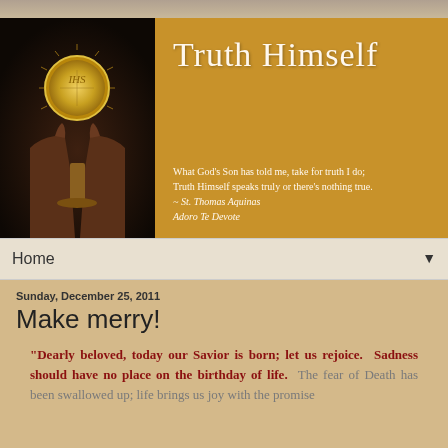[Figure (photo): Photograph of hands holding up a golden monstrance/eucharist host against a dark background]
Truth Himself
What God's Son has told me, take for truth I do; Truth Himself speaks truly or there's nothing true. ~ St. Thomas Aquinas Adoro Te Devote
Home ▼
Sunday, December 25, 2011
Make merry!
“Dearly beloved, today our Savior is born; let us rejoice.  Sadness should have no place on the birthday of life.  The fear of Death has been swallowed up; life brings us joy with the promise